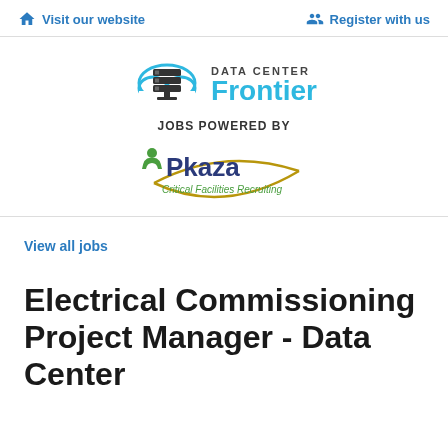Visit our website   Register with us
[Figure (logo): Data Center Frontier logo with cloud and server icon, text reads DATA CENTER Frontier, JOBS POWERED BY, Pkaza Critical Facilities Recruiting]
View all jobs
Electrical Commissioning Project Manager - Data Center